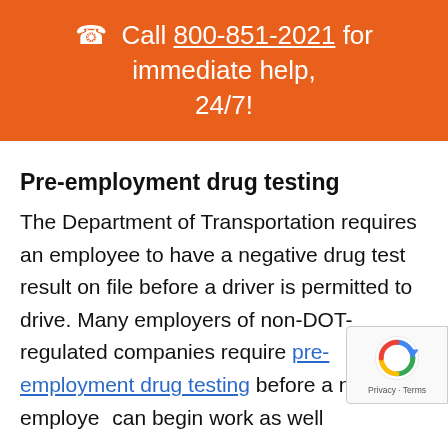Call 800-851-2021 for immediate help, 24/7!
Pre-employment drug testing
The Department of Transportation requires an employee to have a negative drug test result on file before a driver is permitted to drive. Many employers of non-DOT-regulated companies require pre-employment drug testing before a new employee can begin work as well.